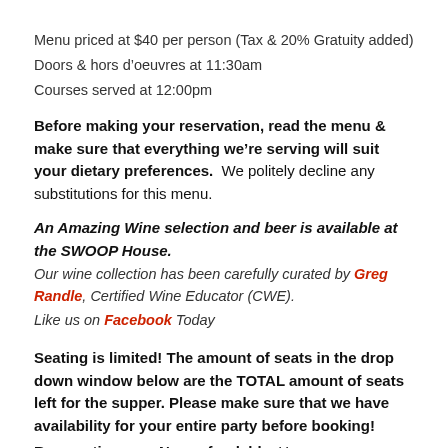Menu priced at $40 per person (Tax & 20% Gratuity added)
Doors & hors d'oeuvres at 11:30am
Courses served at 12:00pm
Before making your reservation, read the menu & make sure that everything we're serving will suit your dietary preferences.  We politely decline any substitutions for this menu.
An Amazing Wine selection and beer is available at the SWOOP House.
Our wine collection has been carefully curated by Greg Randle, Certified Wine Educator (CWE).
Like us on Facebook Today
Seating is limited! The amount of seats in the drop down window below are the TOTAL amount of seats left for the supper. Please make sure that we have availability for your entire party before booking!
Reservations are Non-refundable. However once a seat is